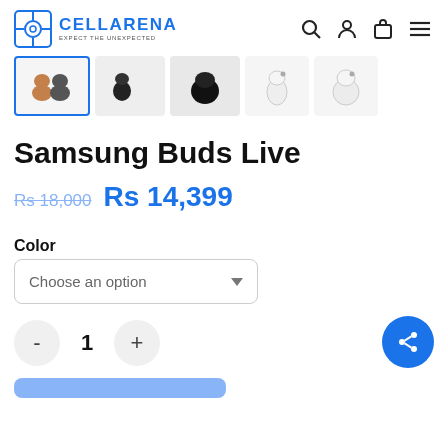CELLARENA — EXPECT THE UNEXPECTED
[Figure (photo): Thumbnail strip showing Samsung Buds Live product images: first selected (earbuds in multiple colors), second and third (black earbuds), fourth and fifth (white earbuds)]
Samsung Buds Live
Rs 18,000  Rs 14,399
Color
Choose an option
- 1 +